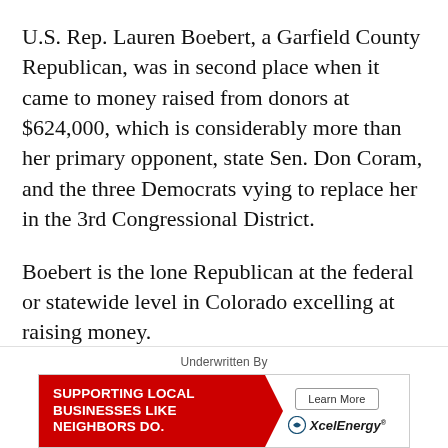U.S. Rep. Lauren Boebert, a Garfield County Republican, was in second place when it came to money raised from donors at $624,000, which is considerably more than her primary opponent, state Sen. Don Coram, and the three Democrats vying to replace her in the 3rd Congressional District.
Boebert is the lone Republican at the federal or statewide level in Colorado excelling at raising money.
[Figure (infographic): Advertisement banner: 'Supporting Local Businesses Like Neighbors Do.' with red arrow shape on left, and Xcel Energy Learn More button on right.]